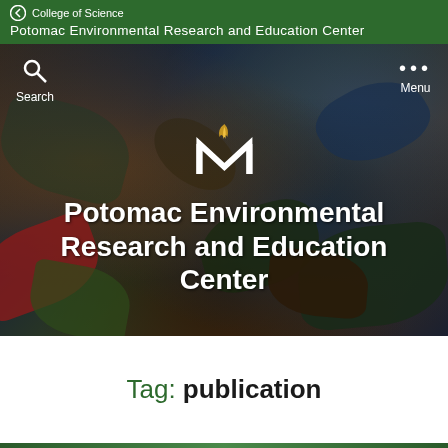College of Science
Potomac Environmental Research and Education Center
[Figure (photo): Hero image showing a nature/environmental background with leaves and water reflections, dark tones. Overlaid with Mason University logo (stylized M with feather) and site title.]
Potomac Environmental Research and Education Center
Tag: publication